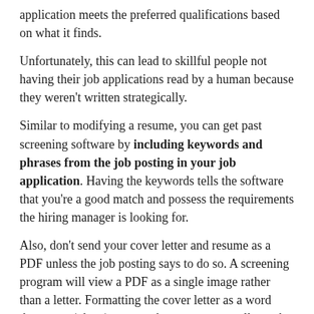application meets the preferred qualifications based on what it finds.
Unfortunately, this can lead to skillful people not having their job applications read by a human because they weren't written strategically.
Similar to modifying a resume, you can get past screening software by including keywords and phrases from the job posting in your job application. Having the keywords tells the software that you're a good match and possess the requirements the hiring manager is looking for.
Also, don't send your cover letter and resume as a PDF unless the job posting says to do so. A screening program will view a PDF as a single image rather than a letter. Formatting the cover letter as a word document (.docx) ensures the program actually reads the words on the page.
I • • • 1 1 • • •